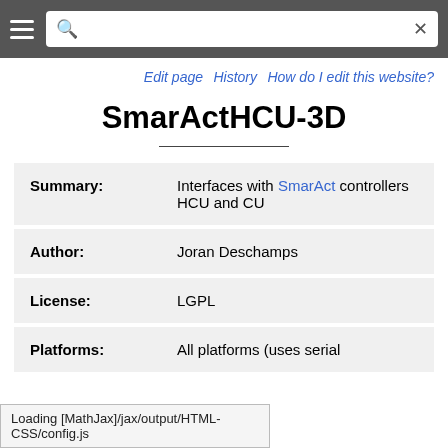[navigation bar with hamburger menu and search bar]
Edit page  History  How do I edit this website?
SmarActHCU-3D
| Field | Value |
| --- | --- |
| Summary: | Interfaces with SmarAct controllers HCU and CU |
| Author: | Joran Deschamps |
| License: | LGPL |
| Platforms: | All platforms (uses serial |
Loading [MathJax]/jax/output/HTML-CSS/config.js